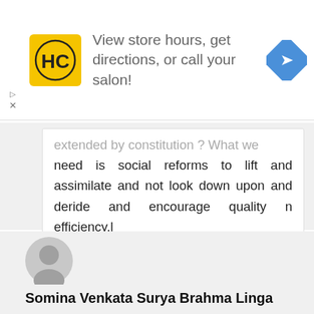[Figure (other): Advertisement banner with HC salon logo, text 'View store hours, get directions, or call your salon!' and a blue navigation arrow icon]
extended by constitution ? What we need is social reforms to lift and assimilate and not look down upon and deride and encourage quality n efficiency.l
Reply
Somina Venkata Surya Brahma Linga